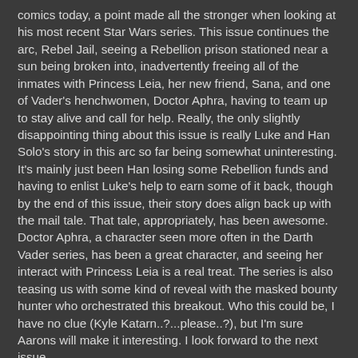comics today, a point made all the stronger when looking at his most recent Star Wars series. This issue continues the arc, Rebel Jail, seeing a Rebellion prison stationed near a sun being broken into, inadvertently freeing all of the inmates with Princess Leia, her new friend, Sana, and one of Vader's henchwomen, Doctor Aphra, having to team up to stay alive and call for help. Really, the only slightly disappointing thing about this issue is really Luke and Han Solo's story in this arc so far being somewhat uninteresting. It's mainly just been Han losing some Rebellion funds and having to enlist Luke's help to earn some of it back, though by the end of this issue, their story does align back up with the mail tale. That tale, appropriately, has been awesome. Doctor Aphra, a character seen more often in the Darth Vader series, has been a great character, and seeing her interact with Princess Leia is a real treat. The series is also teasing us with some kind of reveal with the masked bounty hunter who orchestrated this breakout. Who this could be, I have no clue (Kyle Katarn..?...please..?), but I'm sure Aarons will make it interesting. I look forward to the next issue.
Tony's Score: 8.5/10